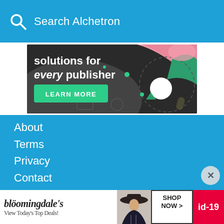Search Alchetron
[Figure (infographic): Advertisement banner with dark background showing 'solutions for every publisher' text and a green LEARN MORE button with decorative colorful shapes]
About
Terms
Privacy
Contact
Alchetron © 2022
[Figure (infographic): Bloomingdale's advertisement banner: 'View Today's Top Deals!' with SHOP NOW button and id-19 badge, showing a woman in a hat]